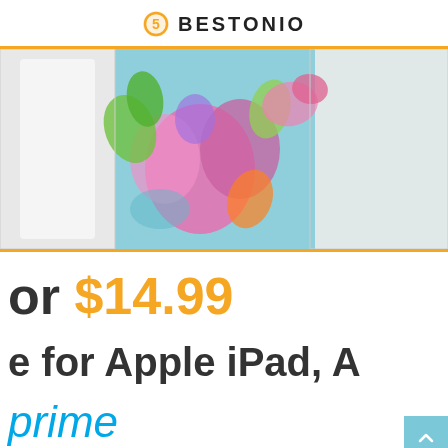BESTONIO
[Figure (photo): Product image strip showing a colorful illustrated screen (iPad/art app display) with vibrant pink, teal, green colors, framed by a white tablet device. Orange border top and bottom.]
or $14.99
e for Apple iPad, A
prime